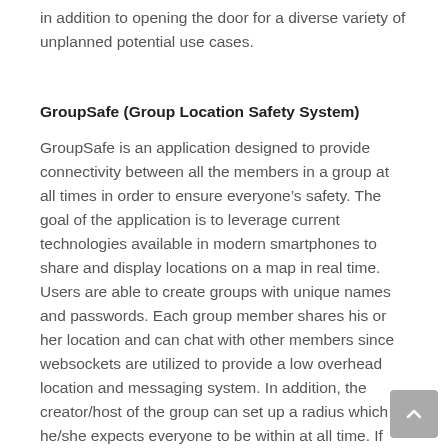in addition to opening the door for a diverse variety of unplanned potential use cases.
GroupSafe (Group Location Safety System)
GroupSafe is an application designed to provide connectivity between all the members in a group at all times in order to ensure everyone’s safety. The goal of the application is to leverage current technologies available in modern smartphones to share and display locations on a map in real time. Users are able to create groups with unique names and passwords. Each group member shares his or her location and can chat with other members since websockets are utilized to provide a low overhead location and messaging system. In addition, the creator/host of the group can set up a radius which he/she expects everyone to be within at all time. If any member of the group is to wander past the